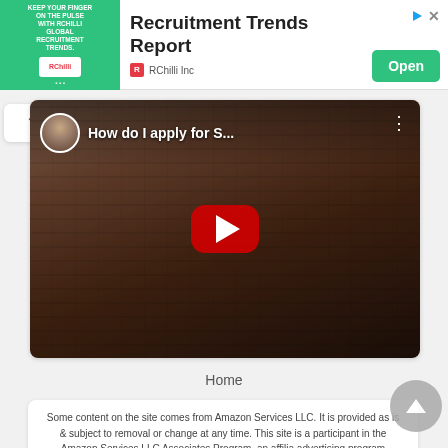[Figure (screenshot): Advertisement banner for RChilli Inc Recruitment Trends Report with green ad image on left, title in center, and green Open button on right]
[Figure (screenshot): YouTube video thumbnail showing a man in a suit with title 'How do I apply for S...' and red play button overlay]
Home
Some content on the site comes from Amazon Services LLC. It is provided as is & subject to removal or change at any time. This site is a participant in the Amazon Services LLC Associates Program, an affiliate advertising program designed to provide a means for sites to earn advertising fees by advertising and linking to Amazon.com.